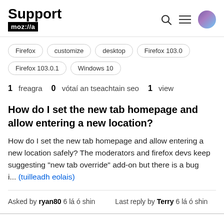Support moz://a
Firefox
customize
desktop
Firefox 103.0
Firefox 103.0.1
Windows 10
1 freagra  0 vótaí an tseachtain seo  1 view
How do I set the new tab homepage and allow entering a new location?
How do I set the new tab homepage and allow entering a new location safely? The moderators and firefox devs keep suggesting "new tab override" add-on but there is a bug i... (tuilleadh eolais)
Asked by ryan80 6 lá ó shin   Last reply by Terry 6 lá ó shin